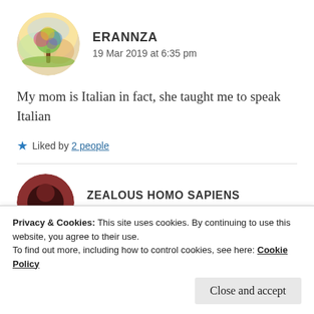[Figure (illustration): Circular avatar image showing a colorful watercolor painting of a tree with vibrant colors against a warm background]
ERANNZA
19 Mar 2019 at 6:35 pm
My mom is Italian in fact, she taught me to speak Italian
★ Liked by 2 people
[Figure (illustration): Circular avatar image showing a dark reddish-brown abstract design]
ZEALOUS HOMO SAPIENS
Privacy & Cookies: This site uses cookies. By continuing to use this website, you agree to their use.
To find out more, including how to control cookies, see here: Cookie Policy
Close and accept